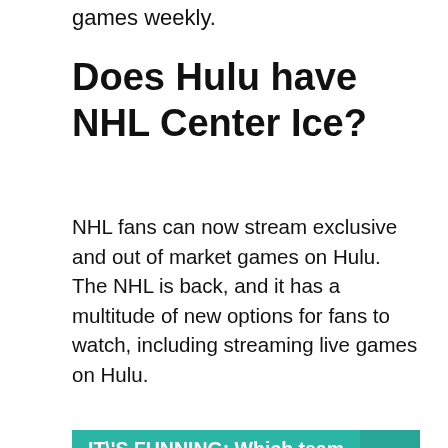games weekly.
Does Hulu have NHL Center Ice?
NHL fans can now stream exclusive and out of market games on Hulu. The NHL is back, and it has a multitude of new options for fans to watch, including streaming live games on Hulu.
IT\'S FUNNING:  Which team has the best power play in the NHL?
[Figure (photo): Hockey goalie wearing a decorated mask and blue jersey]